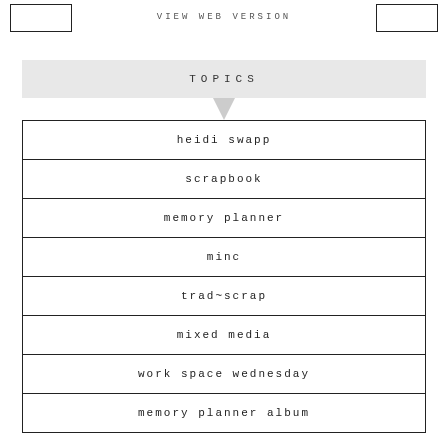VIEW WEB VERSION
TOPICS
heidi swapp
scrapbook
memory planner
minc
trad~scrap
mixed media
work space wednesday
memory planner album